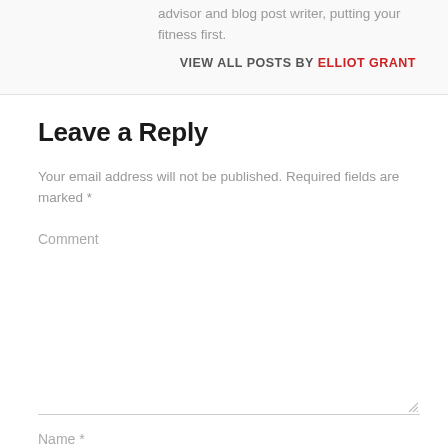advisor and blog post writer, putting your fitness first.
VIEW ALL POSTS BY ELLIOT GRANT
Leave a Reply
Your email address will not be published. Required fields are marked *
Comment
Name *